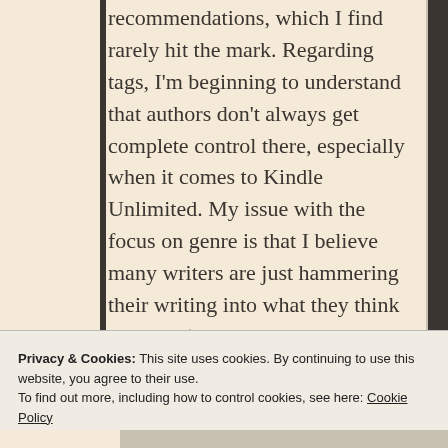recommendations, which I find rarely hit the mark. Regarding tags, I'm beginning to understand that authors don't always get complete control there, especially when it comes to Kindle Unlimited. My issue with the focus on genre is that I believe many writers are just hammering their writing into what they think will sell (e.g. psychological thrillers) instead of what they're best at (e.g. political satire about bovine
Privacy & Cookies: This site uses cookies. By continuing to use this website, you agree to their use.
To find out more, including how to control cookies, see here: Cookie Policy